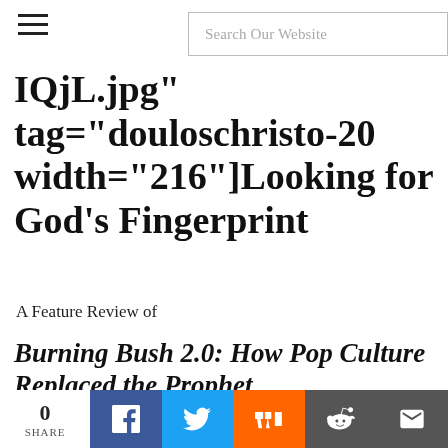Search Our Website
IQjL.jpg" tag="douloschristo-20 width="216"]Looking for God's Fingerprint
A Feature Review of
Burning Bush 2.0: How Pop Culture Replaced the Prophet Paul Asay
Paperback: Abingdon Press, 2015